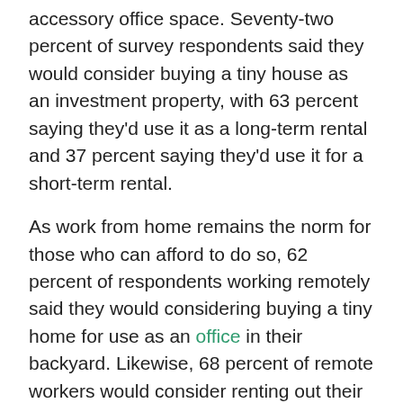accessory office space. Seventy-two percent of survey respondents said they would consider buying a tiny house as an investment property, with 63 percent saying they'd use it as a long-term rental and 37 percent saying they'd use it for a short-term rental.
As work from home remains the norm for those who can afford to do so, 62 percent of respondents working remotely said they would considering buying a tiny home for use as an office in their backyard. Likewise, 68 percent of remote workers would consider renting out their tiny office to other people.
“These people are buying tiny homes, placing them in their yards, and using the houses as outside offices or dwellings,” Nathanson said. “With working from home being a reality for many people for the foreseeable future